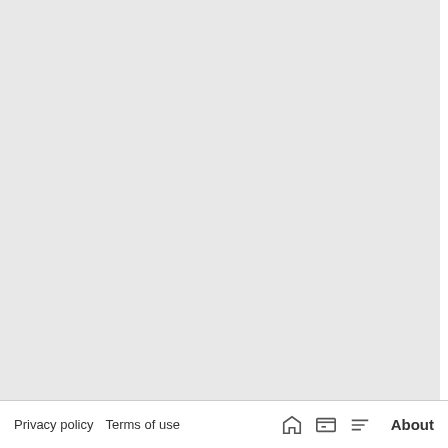Do it yourself
Homework Furniture — For families everywhere, as the s... shrink. This is particularly true in... — Do it yourself
Fix a Leaky Toilet — The toilet seal is called a "wax r... You will have to lift the toilet to re... — Do it yourself
Organizing Your Busy Kids — Some kids, we know, are fabulo... do to help your kid get organized... — Do it yourself
Dollhouses — If you're reading this article, it's a... eyes light up, and therefore it's a... — Do it yourself
Happy Bath Time — While grown-ups often love luxu... up can sometimes be enough to... — Do it yourself
Privacy policy   Terms of use   About